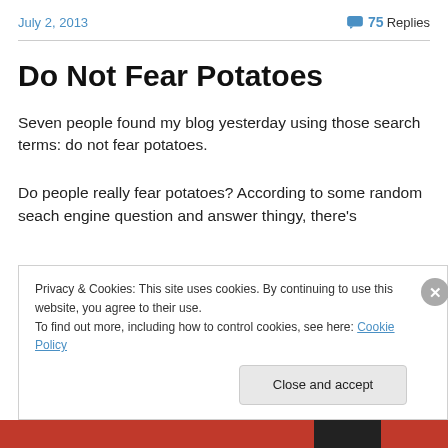July 2, 2013   75 Replies
Do Not Fear Potatoes
Seven people found my blog yesterday using those search terms: do not fear potatoes.
Do people really fear potatoes? According to some random seach engine question and answer thingy, there’s
Privacy & Cookies: This site uses cookies. By continuing to use this website, you agree to their use.
To find out more, including how to control cookies, see here: Cookie Policy
Close and accept